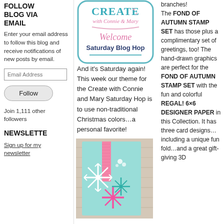FOLLOW BLOG VIA EMAIL
Enter your email address to follow this blog and receive notifications of new posts by email.
Email Address
Follow
Join 1,111 other followers
NEWSLETTE
Sign up for my newsletter
[Figure (illustration): Create with Connie & Mary Welcome Saturday Blog Hop banner logo in teal and pink]
And it's Saturday again! This week our theme for the Create with Connie and Mary Saturday Hop is to use non-traditional Christmas colors…a personal favorite!
[Figure (photo): Handmade Christmas card with mint/teal background featuring white and pink snowflake die cuts and a pink ribbon/tab, set on a wooden surface]
branches! The FOND OF AUTUMN STAMP SET has those plus a complimentary set of greetings, too! The hand-drawn graphics are perfect for the FOND OF AUTUMN STAMP SET with the fun and colorful REGAL! 6×6 DESIGNER PAPER in this Collection. It has three card designs… including a unique fun fold…and a great gift-giving 3D